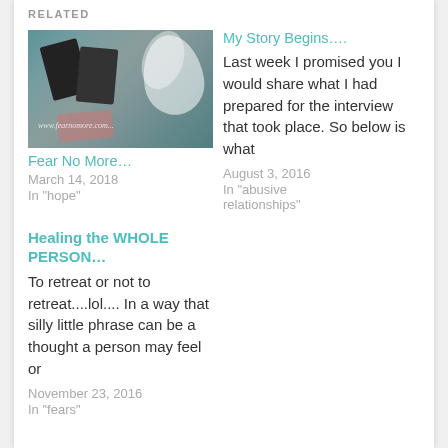RELATED
[Figure (photo): Photo of doTERRA essential oil bottles with white flower and pink label, arranged decoratively]
Fear No More…
March 14, 2018
In "hope"
My Story Begins….
Last week I promised you I would share what I had prepared for the interview that took place.  So below is what
August 3, 2016
In "abusive relationships"
Healing the WHOLE PERSON…
To retreat or not to retreat....lol.... In a way that silly little phrase can be a thought a person may feel or
November 23, 2016
In "fears"